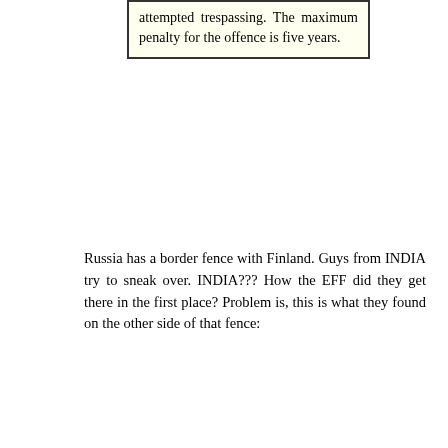attempted trespassing. The maximum penalty for the offence is five years.
Russia has a border fence with Finland. Guys from INDIA try to sneak over. INDIA??? How the EFF did they get there in the first place? Problem is, this is what they found on the other side of that fence:
[Figure (photo): Broken image placeholder labeled 'image']
oops
Posted by Drew458 on 09/28/2008 at 09:49 PM Filed Under: • Illegal-Aliens and Immigration • • Comments (3) •
[Figure (illustration): Hello Kitty with a gun cartoon image]